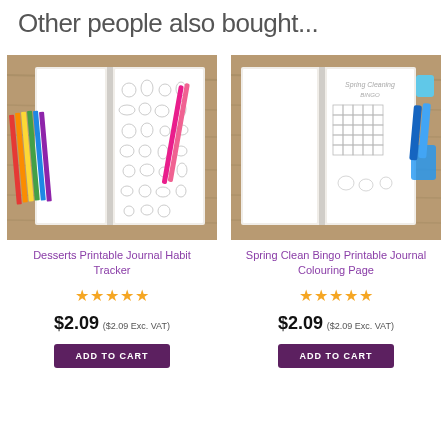Other people also bought...
[Figure (photo): Open notebook with dessert doodles surrounded by colored pencils on a wooden surface]
Desserts Printable Journal Habit Tracker
★★★★★
$2.09 ($2.09 Exc. VAT)
ADD TO CART
[Figure (photo): Open notebook showing Spring Cleaning Bingo chart, surrounded by blue stationery items on a wooden surface]
Spring Clean Bingo Printable Journal Colouring Page
★★★★★
$2.09 ($2.09 Exc. VAT)
ADD TO CART